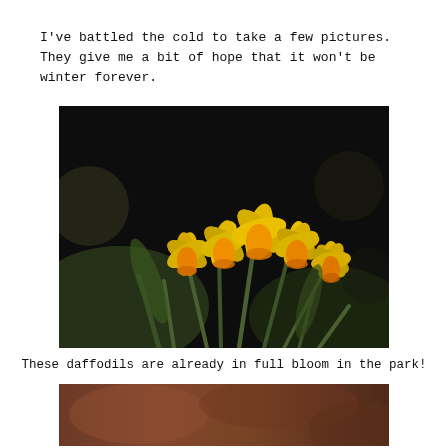I've battled the cold to take a few pictures. They give me a bit of hope that it won't be winter forever.
[Figure (photo): Close-up photograph of yellow daffodil flowers in full bloom against a dark background, with green stems visible.]
These daffodils are already in full bloom in the park!
[Figure (photo): Partially visible photograph at the bottom of the page, showing blurred brownish-reddish tones, likely another nature photo.]